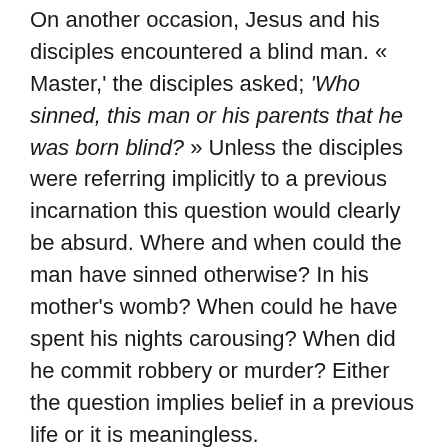On another occasion, Jesus and his disciples encountered a blind man. « Master,' the disciples asked; 'Who sinned, this man or his parents that he was born blind? » Unless the disciples were referring implicitly to a previous incarnation this question would clearly be absurd. Where and when could the man have sinned otherwise? In his mother's womb? When could he have spent his nights carousing? When did he commit robbery or murder? Either the question implies belief in a previous life or it is meaningless.
If the disciples wondered if the man had been born blind because of the sins of his parents, it was because they knew from Jewish law that if a man suffers some infirmity, illness or other affliction it is because he has transgressed the...